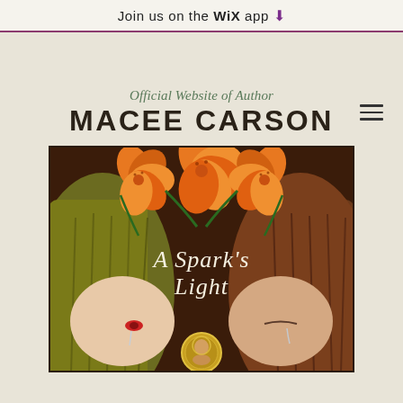Join us on the WiX app ↓
Official Website of Author
MACEE CARSON
[Figure (illustration): Book cover for 'A Spark's Light' showing two women with long hair (one blonde-green, one auburn) parted down the middle, orange tiger lilies across the top, dark brown background with gold coin medallion at center bottom, ornate script title text.]